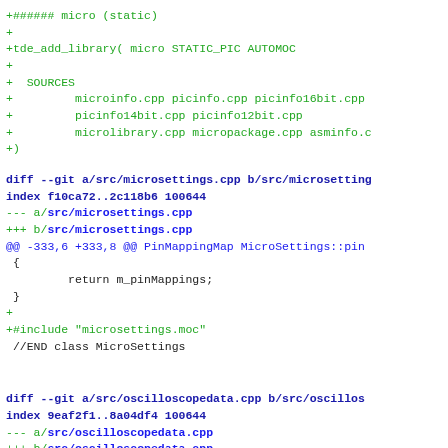+###### micro (static)
+
+tde_add_library( micro STATIC_PIC AUTOMOC
+
+  SOURCES
+         microinfo.cpp picinfo.cpp picinfo16bit.cpp
+         picinfo14bit.cpp picinfo12bit.cpp
+         microlibrary.cpp micropackage.cpp asminfo.c
+)
diff --git a/src/microsettings.cpp b/src/microsetting
index f10ca72..2c118b6 100644
--- a/src/microsettings.cpp
+++ b/src/microsettings.cpp
@@ -333,6 +333,8 @@ PinMappingMap MicroSettings::pin
 {
         return m_pinMappings;
 }
+
+#include "microsettings.moc"
 //END class MicroSettings
diff --git a/src/oscilloscopedata.cpp b/src/oscillos
index 9eaf2f1..8a04df4 100644
--- a/src/oscilloscopedata.cpp
+++ b/src/oscilloscopedata.cpp
@@ -166,6 +166,8 @@ void FloatingProbeData::setLower
         m_lowerAbsValue = lowerAbsValue;